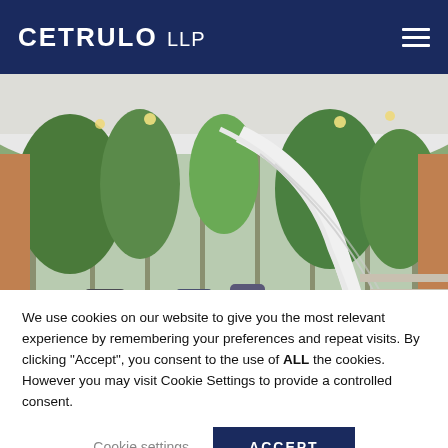CETRULO LLP
[Figure (photo): Interior photo of a modern office building lobby with curved white staircase, glass walls, trees visible outside, modern lounge chairs, and warm lighting]
ASBESTOS LITIGATION
We use cookies on our website to give you the most relevant experience by remembering your preferences and repeat visits. By clicking “Accept”, you consent to the use of ALL the cookies. However you may visit Cookie Settings to provide a controlled consent.
Cookie settings | ACCEPT